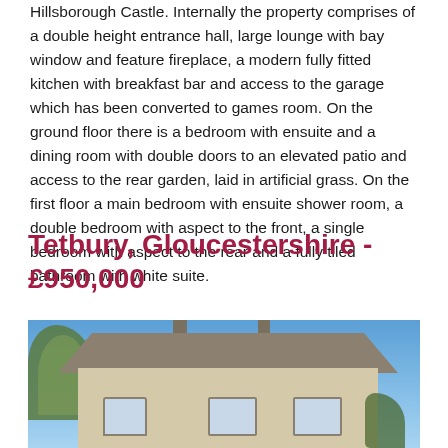Hillsborough Castle. Internally the property comprises of a double height entrance hall, large lounge with bay window and feature fireplace, a modern fully fitted kitchen with breakfast bar and access to the garage which has been converted to games room. On the ground floor there is a bedroom with ensuite and a dining room with double doors to an elevated patio and access to the rear garden, laid in artificial grass. On the first floor a main bedroom with ensuite shower room, a double bedroom with aspect to the front, a single bedroom with aspect to the rear and a fully tiled bathroom with white suite.
Tetbury, Gloucestershire - £950,000
[Figure (photo): Exterior photograph of a traditional stone Cotswold-style house with a grey slate roof, two chimneys, multiple windows with stone surrounds, trees to the left, ivy on the right, under a blue sky.]